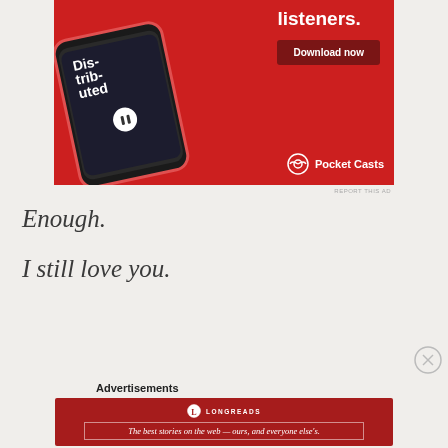[Figure (photo): Pocket Casts advertisement showing a smartphone with podcast app interface on a red background, with text 'listeners.' and 'Download now' button and Pocket Casts logo]
REPORT THIS AD
Enough.
I still love you.
[Figure (logo): Close/dismiss button (X in circle)]
Advertisements
[Figure (other): Longreads advertisement on red background with logo and tagline: The best stories on the web — ours, and everyone else's.]